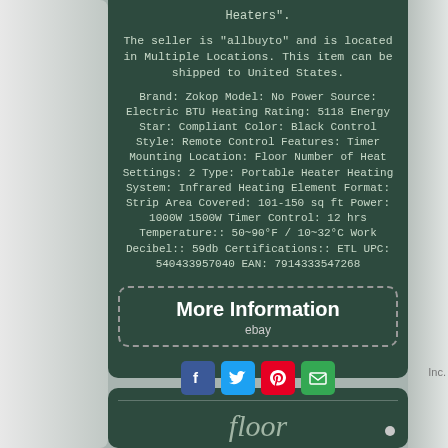Heaters".
The seller is "allbuyto" and is located in Multiple Locations. This item can be shipped to United States.
Brand: Zokop Model: No Power Source: Electric BTU Heating Rating: 5118 Energy Star: Compliant Color: Black Control Style: Remote Control Features: Timer Mounting Location: Floor Number of Heat Settings: 2 Type: Portable Heater Heating System: Infrared Heating Element Format: Strip Area Covered: 101-150 sq ft Power: 1000W 1500W Timer Control: 12 hrs Temperature:: 50~90°F / 10~32°C Work Decibel:: 59db Certifications:: ETL UPC: 540433957040 EAN: 7914333547268
[Figure (other): More Information button with eBay branding and dashed border]
[Figure (other): Social sharing icons: Facebook, Twitter, Pinterest, Email]
floor